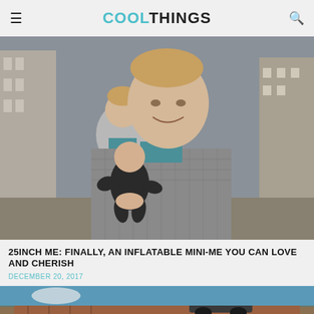COOLTHINGS
[Figure (photo): Man in a grey checkered jacket smiling and holding a small black inflatable doll that looks like a miniature person, standing on a city street. Another person visible in the background.]
25INCH ME: FINALLY, AN INFLATABLE MINI-ME YOU CAN LOVE AND CHERISH
DECEMBER 20, 2017
[Figure (photo): Partial view of another article image showing what appears to be a vehicle or machinery on rooftop/outdoor setting.]